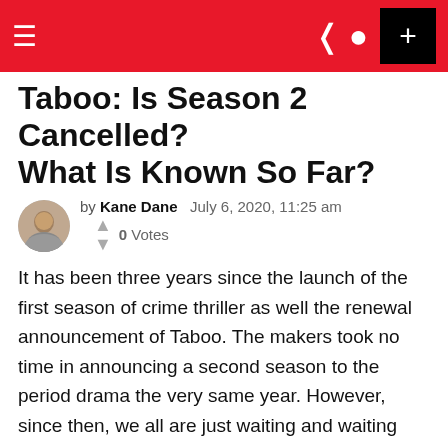≡  ) [user icon]  +
Taboo: Is Season 2 Cancelled? What Is Known So Far?
by Kane Dane  July 6, 2020, 11:25 am  ↑↓ 0 Votes
It has been three years since the launch of the first season of crime thriller as well the renewal announcement of Taboo. The makers took no time in announcing a second season to the period drama the very same year. However, since then, we all are just waiting and waiting when is that second season would happen.
Production Details Related To Taboo Season 2
The producers for the second season were said to...